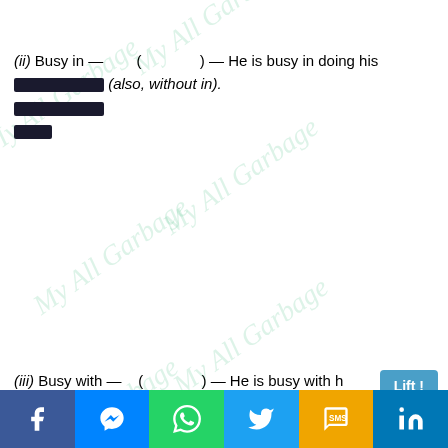(ii) Busy in — ( ) — He is busy in doing his work (also, without in).
(iii) Busy with — ( ) — He is busy with his lessons.